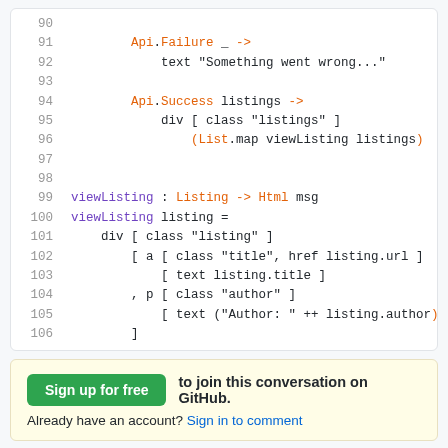[Figure (screenshot): Code block showing Elm code lines 90-106 with syntax highlighting. Line 91: Api.Failure _ -> , line 92: text "Something went wrong...", line 94: Api.Success listings ->, line 95: div [ class "listings" ], line 96: (List.map viewListing listings), line 99: viewListing : Listing -> Html msg, line 100: viewListing listing =, line 101: div [ class "listing" ], line 102: [ a [ class "title", href listing.url ], line 103: [ text listing.title ], line 104: , p [ class "author" ], line 105: [ text ("Author: " ++ listing.author), line 106: ]]
Sign up for free to join this conversation on GitHub. Already have an account? Sign in to comment